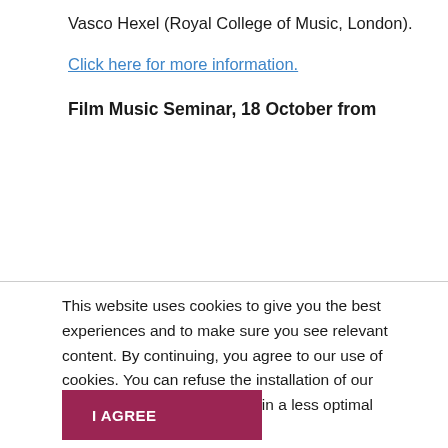Vasco Hexel (Royal College of Music, London).
Click here for more information.
Film Music Seminar, 18 October from
This website uses cookies to give you the best experiences and to make sure you see relevant content. By continuing, you agree to our use of cookies. You can refuse the installation of our cookies, but this might result in a less optimal experience. Read more.
I AGREE